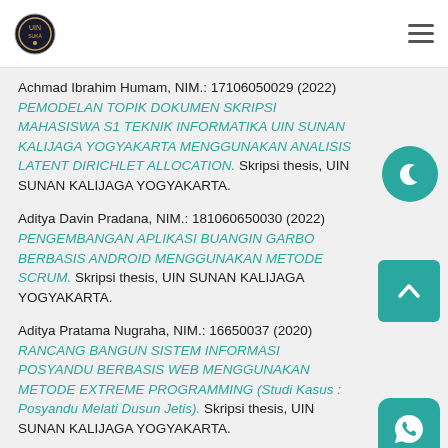UIN Sunan Kalijaga institutional repository header
Achmad Ibrahim Humam, NIM.: 17106050029 (2022) PEMODELAN TOPIK DOKUMEN SKRIPSI MAHASISWA S1 TEKNIK INFORMATIKA UIN SUNAN KALIJAGA YOGYAKARTA MENGGUNAKAN ANALISIS LATENT DIRICHLET ALLOCATION. Skripsi thesis, UIN SUNAN KALIJAGA YOGYAKARTA.
Aditya Davin Pradana, NIM.: 181060650030 (2022) PENGEMBANGAN APLIKASI BUANGIN GARBO BERBASIS ANDROID MENGGUNAKAN METODE SCRUM. Skripsi thesis, UIN SUNAN KALIJAGA YOGYAKARTA.
Aditya Pratama Nugraha, NIM.: 16650037 (2020) RANCANG BANGUN SISTEM INFORMASI POSYANDU BERBASIS WEB MENGGUNAKAN METODE EXTREME PROGRAMMING (Studi Kasus : Posyandu Melati Dusun Jetis). Skripsi thesis, UIN SUNAN KALIJAGA YOGYAKARTA.
Agung Setiyo Pambudi, 12650084 (2018) PENGARUH PELATIHAN SEARCH ENGINE OPTIMIZATION TERHADAP PENJUALAN PRODUK DENGAN PENERAPAN SEARCH